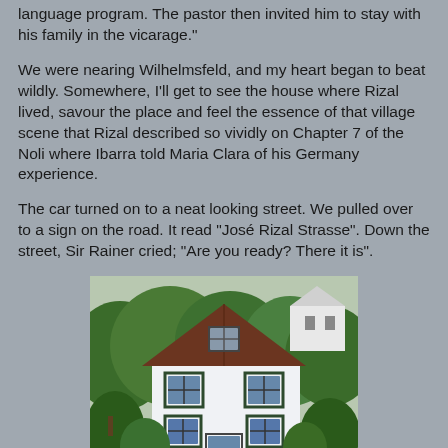language program.  The pastor then invited him to stay with his family in the vicarage."
We were nearing Wilhelmsfeld, and my heart began to beat wildly.  Somewhere, I'll get to see the house where Rizal lived, savour the place and feel the essence of that village scene that Rizal described so vividly on Chapter 7 of the Noli where Ibarra told Maria Clara of his Germany experience.
The car turned on to a neat looking street.  We pulled over to a sign on the road. It read "José Rizal Strasse".  Down the street, Sir Rainer cried;  "Are you ready?  There it is".
[Figure (photo): A white two-story house with dark green shutters and a steep triangular roof, surrounded by lush green trees and vegetation on a hillside. The house is the historic vicarage where José Rizal once stayed in Wilhelmsfeld, Germany.]